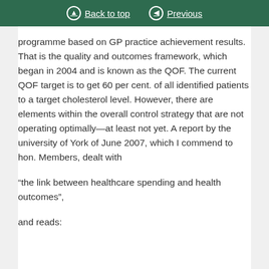Back to top   Previous
programme based on GP practice achievement results. That is the quality and outcomes framework, which began in 2004 and is known as the QOF. The current QOF target is to get 60 per cent. of all identified patients to a target cholesterol level. However, there are elements within the overall control strategy that are not operating optimally—at least not yet. A report by the university of York of June 2007, which I commend to hon. Members, dealt with
“the link between healthcare spending and health outcomes”,
and reads: